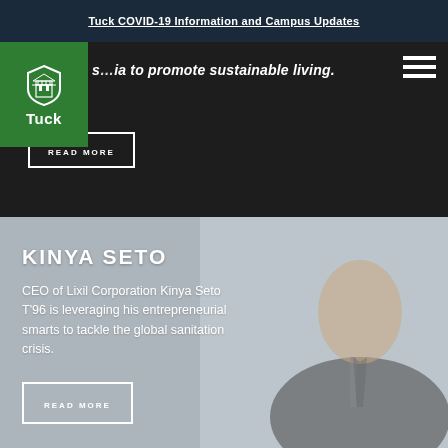Tuck COVID-19 Information and Campus Updates
s…ia to promote sustainable living.
[Figure (photo): Tuck School of Business logo on green background with shield icon and word Tuck]
[Figure (photo): Hamburger menu icon (three white horizontal lines) on dark background]
READ MORE
[Figure (photo): Photo of Kinya Seto, CEO of Lixil Corporation, in a suit, smiling, against a grey background]
KINYA SETO
CEO of Lixil Corporation Kinya Seto T'96 is leveraging his entrepreneurial smarts to tackle the global sanitation crisis.
READ MORE